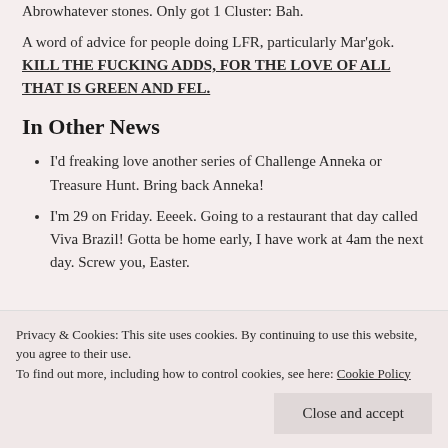Abrowhatever stones. Only got 1 Cluster: Bah.
A word of advice for people doing LFR, particularly Mar'gok. KILL THE FUCKING ADDS, FOR THE LOVE OF ALL THAT IS GREEN AND FEL.
In Other News
I'd freaking love another series of Challenge Anneka or Treasure Hunt. Bring back Anneka!
I'm 29 on Friday. Eeeek. Going to a restaurant that day called Viva Brazil! Gotta be home early, I have work at 4am the next day. Screw you, Easter.
Privacy & Cookies: This site uses cookies. By continuing to use this website, you agree to their use.
To find out more, including how to control cookies, see here: Cookie Policy
work, but I'm not really going to put too much focus